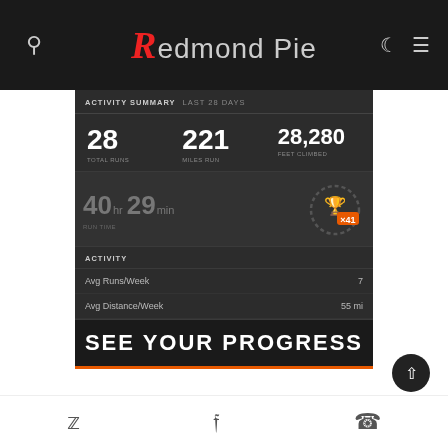Redmond Pie
ACTIVITY SUMMARY LAST 28 DAYS
28 TOTAL RUNS
221 MILES RUN
28,280 FEET CLIMBED
40hr 29min RUN TIME
ACTIVITY
Avg Runs/Week 7
Avg Distance/Week 55 mi
SEE YOUR PROGRESS
Twitter | Facebook | WhatsApp